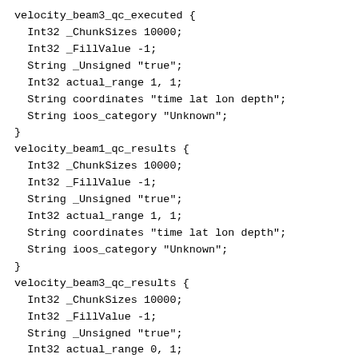velocity_beam3_qc_executed {
  Int32 _ChunkSizes 10000;
  Int32 _FillValue -1;
  String _Unsigned "true";
  Int32 actual_range 1, 1;
  String coordinates "time lat lon depth";
  String ioos_category "Unknown";
}
velocity_beam1_qc_results {
  Int32 _ChunkSizes 10000;
  Int32 _FillValue -1;
  String _Unsigned "true";
  Int32 actual_range 1, 1;
  String coordinates "time lat lon depth";
  String ioos_category "Unknown";
}
velocity_beam3_qc_results {
  Int32 _ChunkSizes 10000;
  Int32 _FillValue -1;
  String _Unsigned "true";
  Int32 actual_range 0, 1;
  String coordinates "time lat lon depth";
  String ioos_category "Unknown";
}
depth {
  Int32 _ChunkSizes 10000;